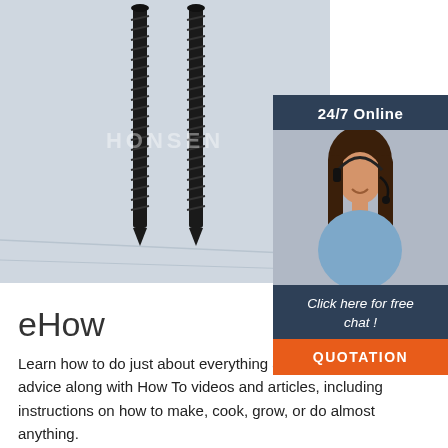[Figure (photo): Two long black screws standing upright on a light gray surface, with watermark text 'HONSEN' overlaid in the center]
[Figure (infographic): Sidebar advertisement showing '24/7 Online' header, a woman with a headset smiling, text 'Click here for free chat!', and an orange QUOTATION button]
eHow
Learn how to do just about everything at eHow. Find expert advice along with How To videos and articles, including instructions on how to make, cook, grow, or do almost anything.